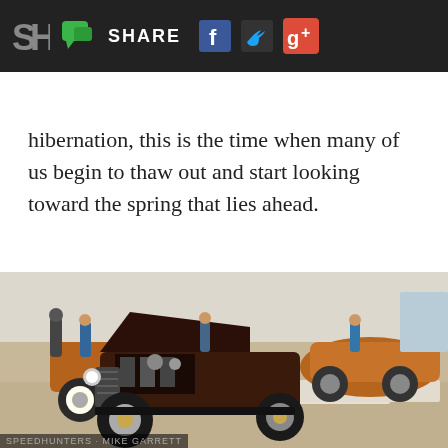SH | [chat bubble] SHARE [Facebook] [Twitter] [Google+]
hibernation, this is the time when many of us begin to thaw out and start looking toward the spring that lies ahead.
[Figure (photo): Indoor hot rod and custom car show with a dark brown/maroon vintage rod in the foreground, engine exposed with hood open, copper/orange classic cars in the background, people milling about in a gallery-style exhibition space.]